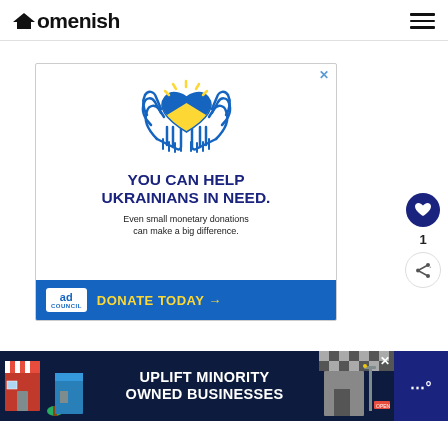Homenish
[Figure (infographic): Ukraine charity advertisement: illustration of two hands holding a heart with Ukrainian flag colors (blue and yellow), with text 'YOU CAN HELP UKRAINIANS IN NEED. Even small monetary donations can make a big difference.' and a blue 'DONATE TODAY →' button with Ad Council logo.]
[Figure (infographic): Bottom banner advertisement: 'UPLIFT MINORITY OWNED BUSINESSES' on a dark blue background with illustrated storefronts on each side.]